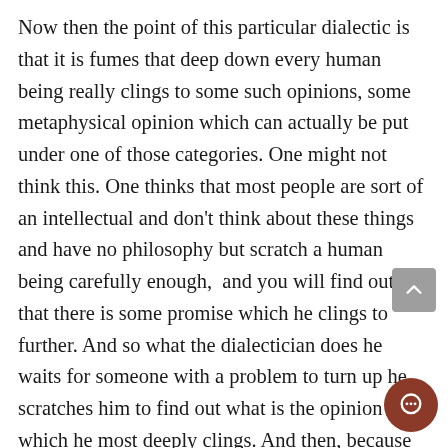Now then the point of this particular dialectic is that it is fumes that deep down every human being really clings to some such opinions, some metaphysical opinion which can actually be put under one of those categories. One might not think this. One thinks that most people are sort of an intellectual and don't think about these things and have no philosophy but scratch a human being carefully enough,  and you will find out that there is some promise which he clings to further. And so what the dialectician does he waits for someone with a problem to turn up he scratches him to find out what is the opinion to which he most deeply clings. And then, because the nature of this dialectic is philosophy for refuting any opinion that anybody can hold the flaws of himself has